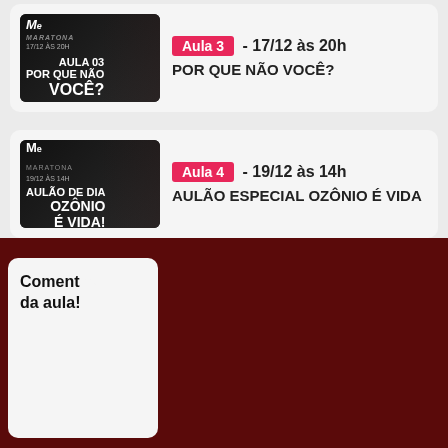[Figure (screenshot): Thumbnail image for Aula 3 - black and white photo of woman with text 'AULA 03 POR QUE NÃO VOCÊ?' and date '17/12 ÀS 20H']
Aula 3 - 17/12 às 20h
POR QUE NÃO VOCÊ?
[Figure (screenshot): Thumbnail image for Aula 4 - black and white photo of woman with text 'AULÃO DE DIA OZÔNIO É VIDA!' and date '19/12 ÀS 14H']
Aula 4 - 19/12 às 14h
AULÃO ESPECIAL OZÔNIO É VIDA
Comente da aula!
Usamos cookies em nosso site para fornecer a experiência mais relevante, lembrando suas preferências e visitas repetidas. Ao clicar em "Aceitar", concorda com a utilização de TODOS os cookies.
Configurar Cookies
ACEITO